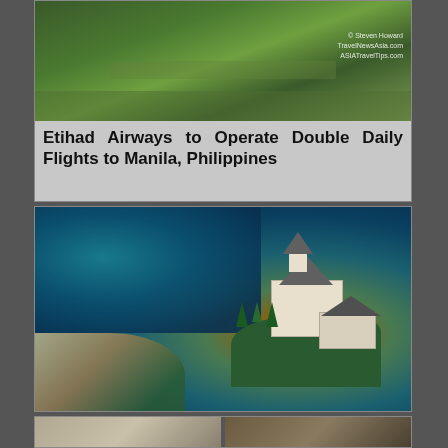[Figure (photo): Aerial photograph of a green field or airfield, with a watermark reading '© Steven Howard TravelNewsAsia.com ASIATravelTips.com']
Etihad Airways to Operate Double Daily Flights to Manila, Philippines
[Figure (photo): Aerial photograph of a historic lakeside resort or castle on an island surrounded by turquoise lake water in Austria]
Rosewood to Take Over Historic Lakeside Resort in Austria
[Figure (photo): Partial view of two images at the bottom of the page, cut off]